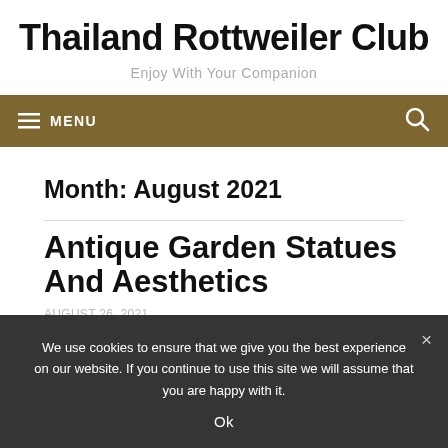Thailand Rottweiler Club
Enjoy With Your Companion
≡ MENU
Month: August 2021
Antique Garden Statues And Aesthetics
AUGUST 26, 2021
We use cookies to ensure that we give you the best experience on our website. If you continue to use this site we will assume that you are happy with it.